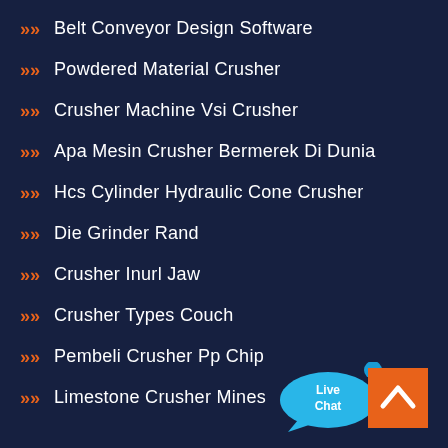Belt Conveyor Design Software
Powdered Material Crusher
Crusher Machine Vsi Crusher
Apa Mesin Crusher Bermerek Di Dunia
Hcs Cylinder Hydraulic Cone Crusher
Die Grinder Rand
Crusher Inurl Jaw
Crusher Types Couch
Pembeli Crusher Pp Chip
Limestone Crusher Mines
[Figure (illustration): Live Chat speech bubble icon in cyan/blue with 'Live Chat' text and an X close button]
[Figure (illustration): Orange back-to-top button with white chevron/arrow pointing up]